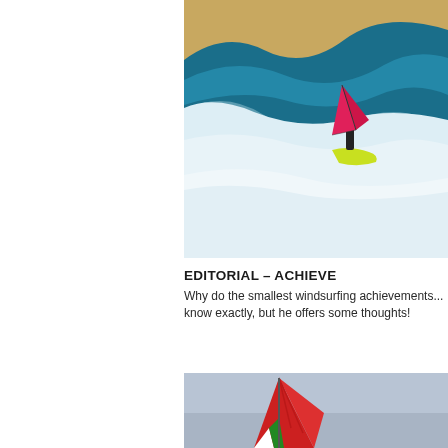[Figure (photo): Windsurfer with pink/red sail riding large ocean wave with white foam and blue water, sandy dunes in background]
EDITORIAL – ACHIEVE
Why do the smallest windsurfing achievements... know exactly, but he offers some thoughts!
[Figure (photo): Red windsurfing sail visible against grey-blue sky, bottom portion of image]